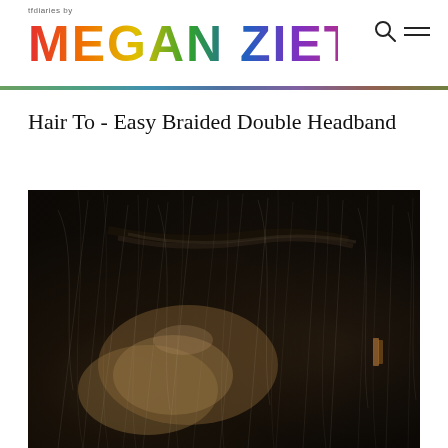tfdiaries by MEGAN ZIETZ
Hair To - Easy Braided Double Headband
[Figure (photo): Close-up photo of dark hair styled in a braided double headband, showing ombre brown-to-black tones with fine hair strands visible across the scalp]